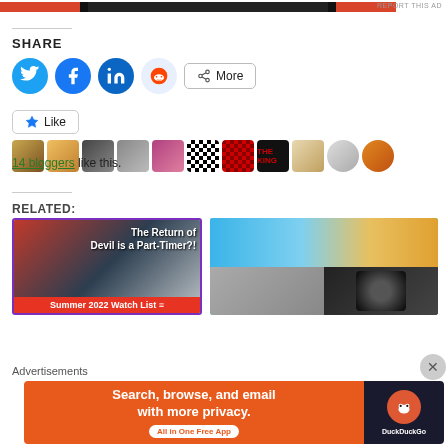[Figure (screenshot): Top ad banner strip in red/black/red colors with REPORT THIS AD label]
REPORT THIS AD
SHARE
[Figure (screenshot): Social share buttons: Twitter (blue circle), Facebook (blue circle), LinkedIn (blue circle), Reddit (light blue circle), More button]
[Figure (screenshot): Like button with star icon and blogger avatars row]
14 bloggers like this.
RELATED:
[Figure (screenshot): Related article image 1: The Return of Devil is a Part-Timer?! Summer 2022 Watch List, anime image with purple border]
[Figure (screenshot): Related article image 2: Anime group promotional image]
Advertisements
[Figure (screenshot): DuckDuckGo advertisement banner: Search, browse, and email with more privacy. All in One Free App]